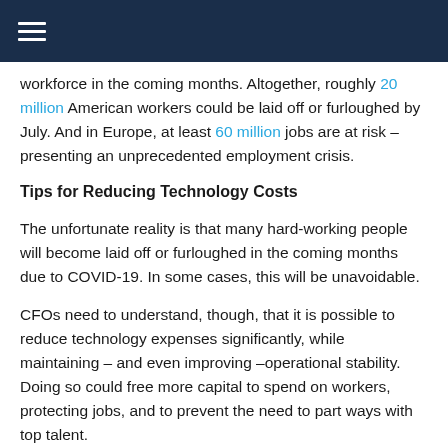[hamburger menu icon]
workforce in the coming months. Altogether, roughly 20 million American workers could be laid off or furloughed by July. And in Europe, at least 60 million jobs are at risk – presenting an unprecedented employment crisis.
Tips for Reducing Technology Costs
The unfortunate reality is that many hard-working people will become laid off or furloughed in the coming months due to COVID-19. In some cases, this will be unavoidable.
CFOs need to understand, though, that it is possible to reduce technology expenses significantly, while maintaining – and even improving –operational stability. Doing so could free more capital to spend on workers, protecting jobs, and to prevent the need to part ways with top talent.